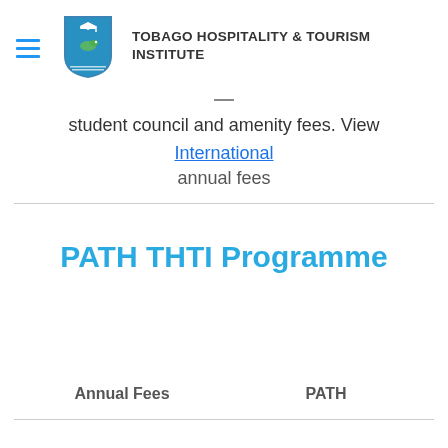[Figure (logo): Tobago Hospitality & Tourism Institute crest/shield logo with graduation cap and bird]
TOBAGO HOSPITALITY & TOURISM INSTITUTE
student council and amenity fees. View International annual fees
PATH THTI Programme
| Annual Fees | PATH |
| --- | --- |